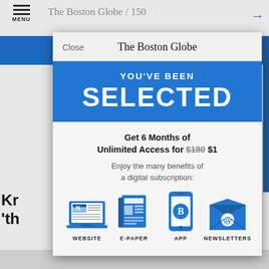[Figure (screenshot): Boston Globe website background showing menu icon, site header, blue navigation bar, partial article headline 'Kr...' and '"th...', byline starting with 'By W' and date 'Octo...']
The Boston Globe
Close
YOU'VE BEEN SELECTED
Get 6 Months of Unlimited Access for $180 $1
Enjoy the many benefits of a digital subscription:
[Figure (infographic): Four blue icons representing subscription benefits: WEBSITE (laptop with Boston Globe logo), E-PAPER (newspaper), APP (smartphone with Boston Globe logo), NEWSLETTERS (envelope with @ symbol)]